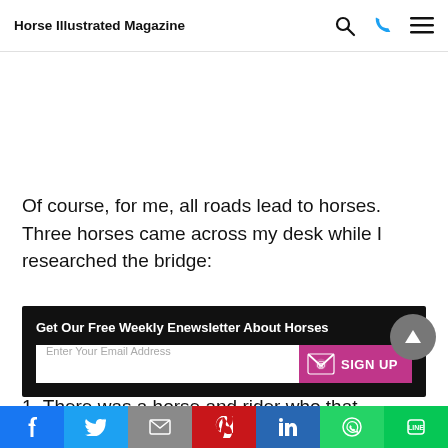Horse Illustrated Magazine
Of course, for me, all roads lead to horses. Three horses came across my desk while I researched the bridge:
[Figure (infographic): Newsletter signup box with dark background. Title: 'Get Our Free Weekly Enewsletter About Horses'. Email input field with placeholder 'Enter Your Email Address' and pink 'SIGN UP' button with envelope icon.]
1. There was a horse and rider who that crossed the
Social share bar: Facebook, Twitter, Email, Pinterest, LinkedIn, WhatsApp, Line